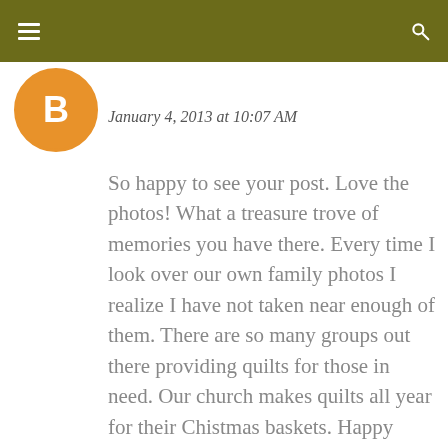[Figure (illustration): Blogger avatar icon — orange circle with white letter B]
January 4, 2013 at 10:07 AM
So happy to see your post. Love the photos! What a treasure trove of memories you have there. Every time I look over our own family photos I realize I have not taken near enough of them. There are so many groups out there providing quilts for those in need. Our church makes quilts all year for their Chistmas baskets. Happy New Year to you and your gingerbread carpenters!